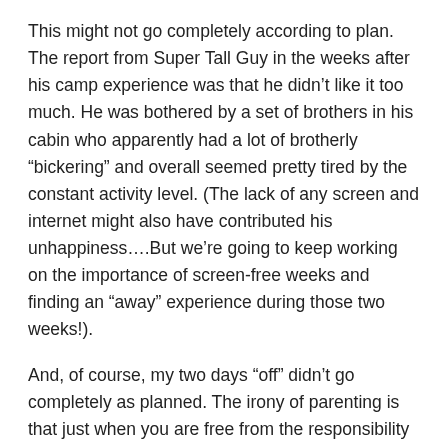This might not go completely according to plan. The report from Super Tall Guy in the weeks after his camp experience was that he didn’t like it too much. He was bothered by a set of brothers in his cabin who apparently had a lot of brotherly “bickering” and overall seemed pretty tired by the constant activity level. (The lack of any screen and internet might also have contributed his unhappiness….But we’re going to keep working on the importance of screen-free weeks and finding an “away” experience during those two weeks!).
And, of course, my two days “off” didn’t go completely as planned. The irony of parenting is that just when you are free from the responsibility of the daily grind of caring for the younger two, the typically-independent eldest develops a fever of 102….and so I am still “needed”!